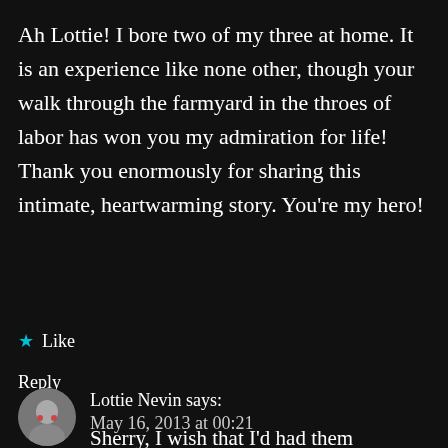Ah Lottie! I bore two of my three at home. It is an experience like none other, though your walk through the farmyard in the throes of labor has won you my admiration for life! Thank you enormously for sharing this intimate, heartwarming story. You're my hero!
★ Like
Reply
Lottie Nevin says:
May 16, 2013 at 00:21
Sherry, I wish that I'd had them